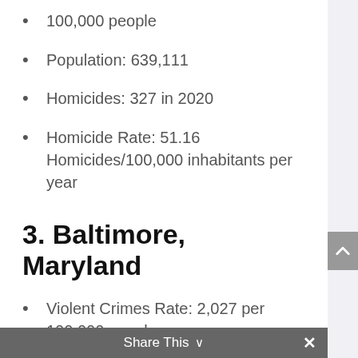100,000 people
Population: 639,111
Homicides: 327 in 2020
Homicide Rate: 51.16 Homicides/100,000 inhabitants per year
3. Baltimore, Maryland
Violent Crimes Rate: 2,027 per 100,000 people
Population: 585,708
Homicides: 348 in 2020
Share This ∨  ×